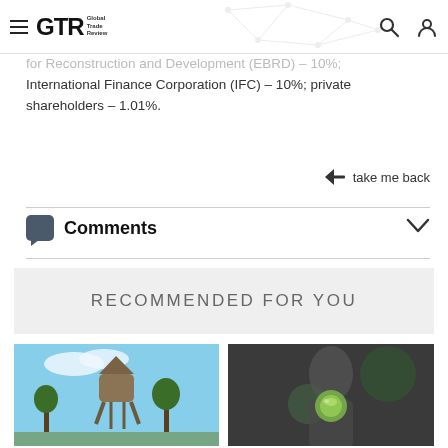GTR Global Trade Review
for Reconstruction and Development (EBRD) – 10%; International Finance Corporation (IFC) – 10%; private shareholders – 1.01%.
take me back
Comments
RECOMMENDED FOR YOU
[Figure (photo): Photo of a water tower and industrial structure against a blue sky]
[Figure (photo): Blurred close-up photo of a person holding a green object]